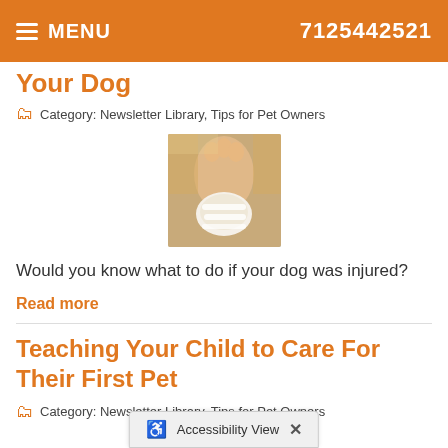MENU   7125442521
Your Dog
Category: Newsletter Library, Tips for Pet Owners
[Figure (photo): Close-up photo of a person wrapping a bandage around a dog's paw]
Would you know what to do if your dog was injured?
Read more
Teaching Your Child to Care For Their First Pet
Category: Newsletter Library, Tips for Pet Owners